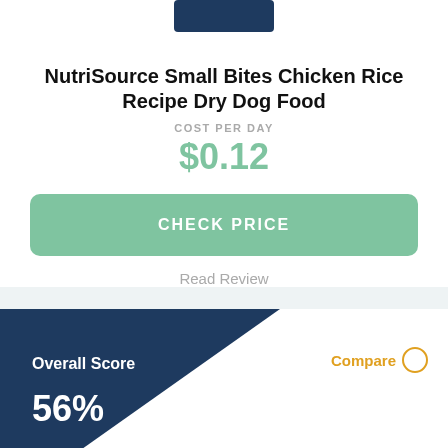[Figure (photo): Partial product image of NutriSource dog food bag, dark blue top visible]
NutriSource Small Bites Chicken Rice Recipe Dry Dog Food
COST PER DAY
$0.12
CHECK PRICE
Read Review
Overall Score 56%
Compare